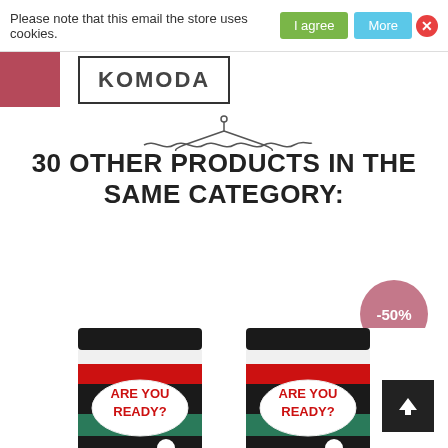Please note that this email the store uses cookies. | I agree | More | X
[Figure (logo): KOMODA store logo with red block on left and text in bordered box]
[Figure (illustration): Decorative squiggle / wave divider line with hanger icon]
30 OTHER PRODUCTS IN THE SAME CATEGORY:
[Figure (infographic): -50% discount badge circle in mauve/pink color]
[Figure (photo): Two socks with 'ARE YOU READY?' text in red on white speech bubble, black and teal stripes with white polka dots]